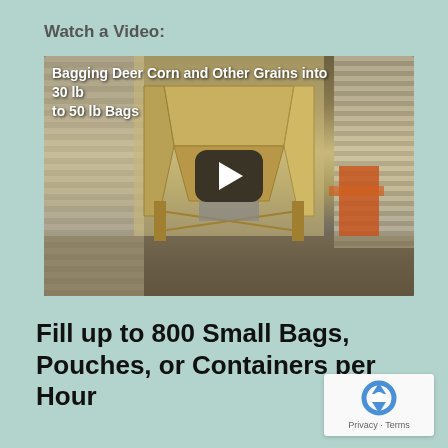Watch a Video:
[Figure (screenshot): YouTube video thumbnail showing a grain bagging hopper machine in an industrial warehouse. Title text overlay reads: 'Bagging Deer Corn and Other Grains into 30 lb to 50 lb Bags'. A large play button is centered over the video.]
Fill up to 800 Small Bags, Pouches, or Containers per Hour
[Figure (logo): Google reCAPTCHA logo with text 'Privacy - Terms']